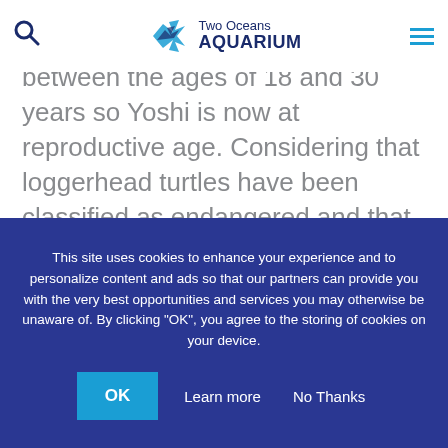Two Oceans AQUARIUM
between the ages of 18 and 30 years so Yoshi is now at reproductive age. Considering that loggerhead turtles have been classified as endangered and that worldwide programmes and initiatives are underway to ensure the survival of the species, it is appropriate that
This site uses cookies to enhance your experience and to personalize content and ads so that our partners can provide you with the very best opportunities and services you may otherwise be unaware of. By clicking "OK", you agree to the storing of cookies on your device.